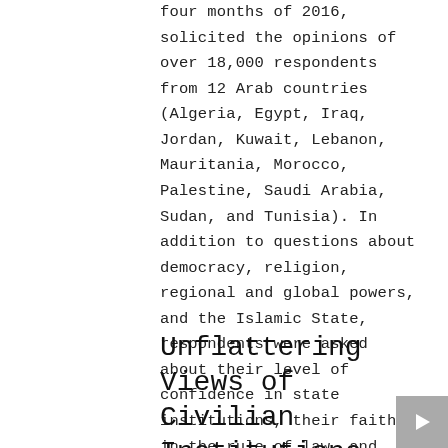four months of 2016, solicited the opinions of over 18,000 respondents from 12 Arab countries (Algeria, Egypt, Iraq, Jordan, Kuwait, Lebanon, Mauritania, Morocco, Palestine, Saudi Arabia, Sudan, and Tunisia). In addition to questions about democracy, religion, regional and global powers, and the Islamic State, respondents were asked about their level of confidence in state institutions, their faith in the rule of law, and their opinions about levels of corruption and government efforts to fight it.
Unflattering Views of Civilian Institutions